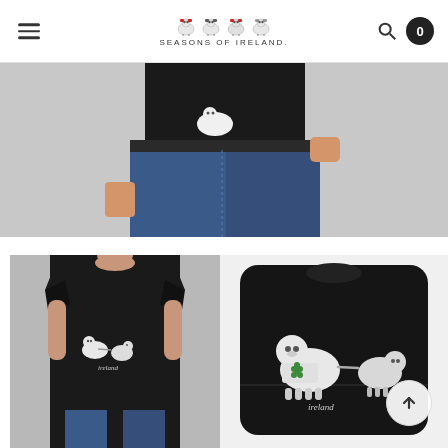Seasons of Ireland - navigation header with logo, hamburger menu, search icon, and cart badge showing 0
[Figure (photo): Close-up of a person wearing a black t-shirt with sheep graphic design, tucked partly into jeans, with hand in pocket]
[Figure (photo): Man wearing black Seasons of Ireland sheep graphic t-shirt, full front view]
[Figure (photo): Folded black Seasons of Ireland t-shirt showing two sheep graphic design with 'Ireland' script text]